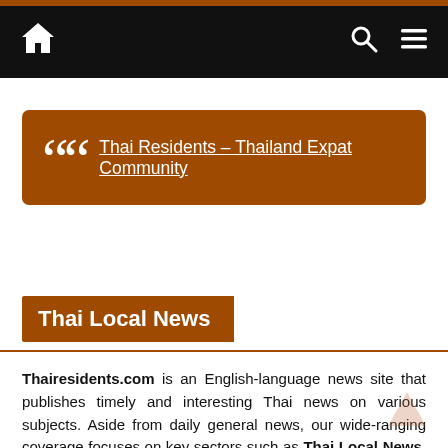Thai Residents – Thailand Expat Community [navigation bar with home, search, menu icons]
Thai Residents – Thailand Expat Community
Thai Local News
Thairesidents.com is an English-language news site that publishes timely and interesting Thai news on various subjects. Aside from daily general news, our wide-ranging coverage focuses on key sectors such as Thai Local News, Thailand News, tourism, money, property, lifestyle and tips while also concentrating on compelling global developments.
Ours is a talented and experienced team of journalists and our readers are mainly foreigners residing in Thailand.